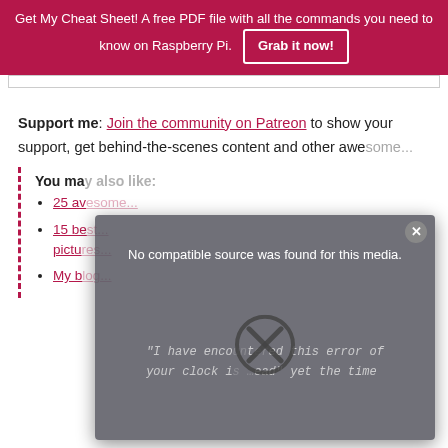Get My Cheat Sheet! A free PDF file with all the commands you need to know on Raspberry Pi. [Grab it now!]
Support me: Join the community on Patreon to show your support, get behind-the-scenes content and other awe...
You ma...
25 av...
15 be... pictu...
My b...
[Figure (screenshot): Modal overlay dialog showing 'No compatible source was found for this media.' with a background image of handwritten text reading 'I have encountered this error of your clock is ...ead yet the time' and a large X circle icon in the center. A close button (x) is in the top-right corner.]